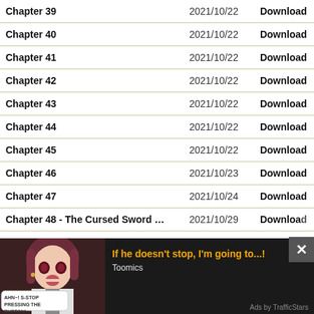| Chapter | Date | Action |
| --- | --- | --- |
| Chapter 39 | 2021/10/22 | Download |
| Chapter 40 | 2021/10/22 | Download |
| Chapter 41 | 2021/10/22 | Download |
| Chapter 42 | 2021/10/22 | Download |
| Chapter 43 | 2021/10/22 | Download |
| Chapter 44 | 2021/10/22 | Download |
| Chapter 45 | 2021/10/22 | Download |
| Chapter 46 | 2021/10/23 | Download |
| Chapter 47 | 2021/10/24 | Download |
| Chapter 48 - The Cursed Sword Trains | 2021/10/29 | Download |
[Figure (illustration): Advertisement banner for Toomics manga site showing an anime girl character with speech bubble 'AHN~! S-STOP PRESSING THE BUTTON!' and text 'If he doesn't stop, I'm going to...!' with Toomics branding. Close button X visible. 'Ads by TrafficStars' footer.]